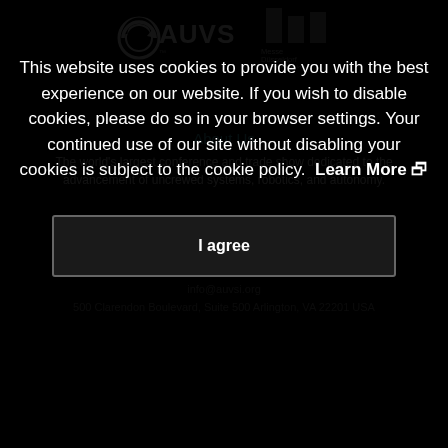[Figure (logo): AUVSI logo (circular arrow icon with AUVSI text) and Messe Düsseldorf North America logo (three vertical bars)]
About Us
The world's largest conference and trade show dedicated to the advancement of uncrewed systems, robotics, and autonomy.
Contact Us
+1 703 845 9671
info@auvsi.org
500 Clarendon Boulevard, Suite 500 Arlington, VA 22201 USA
This website uses cookies to provide you with the best experience on our website. If you wish to disable cookies, please do so in your browser settings. Your continued use of our site without disabling your cookies is subject to the cookie policy.  Learn More 🔗
I agree